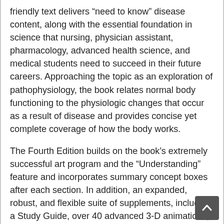friendly text delivers “need to know” disease content, along with the essential foundation in science that nursing, physician assistant, pharmacology, advanced health science, and medical students need to succeed in their future careers. Approaching the topic as an exploration of pathophysiology, the book relates normal body functioning to the physiologic changes that occur as a result of disease and provides concise yet complete coverage of how the body works.
The Fourth Edition builds on the book’s extremely successful art program and the “Understanding” feature and incorporates summary concept boxes after each section. In addition, an expanded, robust, and flexible suite of supplements, including a Study Guide, over 40 advanced 3-D animations, PrepU, and Lippincott’s CoursePoint , provide students with all the tools they need to succeed.
Student Resources: